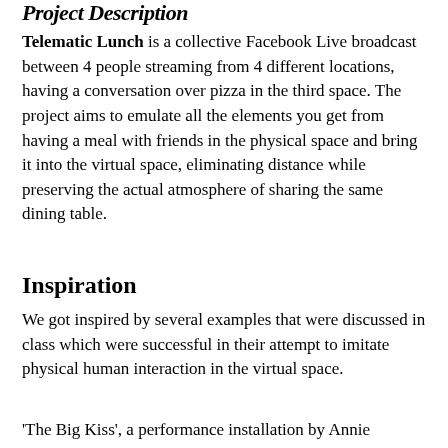Project Description
Telematic Lunch is a collective Facebook Live broadcast between 4 people streaming from 4 different locations, having a conversation over pizza in the third space. The project aims to emulate all the elements you get from having a meal with friends in the physical space and bring it into the virtual space, eliminating distance while preserving the actual atmosphere of sharing the same dining table.
Inspiration
We got inspired by several examples that were discussed in class which were successful in their attempt to imitate physical human interaction in the virtual space.
'The Big Kiss', a performance installation by Annie